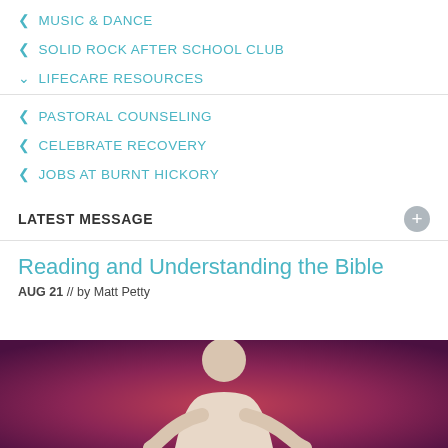< MUSIC & DANCE
< SOLID ROCK AFTER SCHOOL CLUB
v LIFECARE RESOURCES
< PASTORAL COUNSELING
< CELEBRATE RECOVERY
< JOBS AT BURNT HICKORY
LATEST MESSAGE
Reading and Understanding the Bible
AUG 21 // by Matt Petty
[Figure (photo): A man speaking on stage against a purple/pink background]